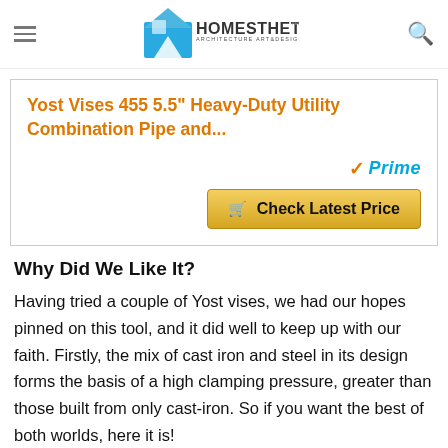Homesthetics - Architecture Art & Design
Yost Vises 455 5.5" Heavy-Duty Utility Combination Pipe and...
[Figure (other): Amazon Prime badge and Check Latest Price button]
Why Did We Like It?
Having tried a couple of Yost vises, we had our hopes pinned on this tool, and it did well to keep up with our faith. Firstly, the mix of cast iron and steel in its design forms the basis of a high clamping pressure, greater than those built from only cast-iron. So if you want the best of both worlds, here it is!